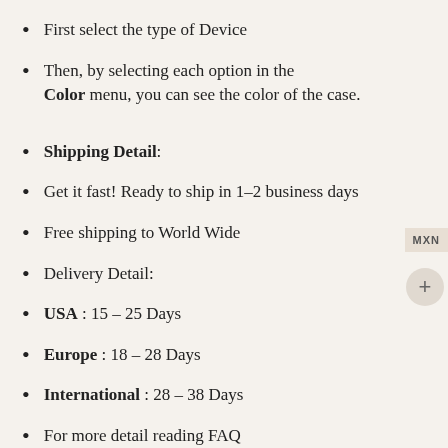First select the type of Device
Then, by selecting each option in the Color menu, you can see the color of the case.
Shipping Detail:
Get it fast! Ready to ship in 1-2 business days
Free shipping to World Wide
Delivery Detail:
USA : 15 - 25 Days
Europe : 18 - 28 Days
International : 28 - 38 Days
For more detail reading FAQ
Ask any question from Contact Us